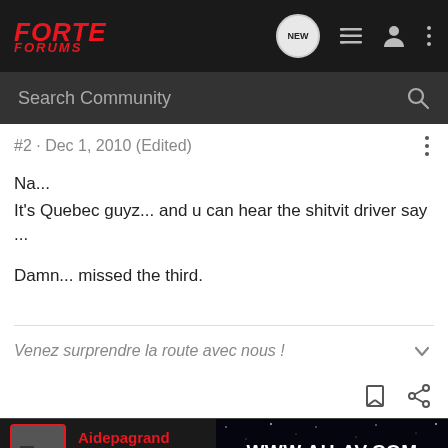FORTE FORUMS
Search Community
#2 · Dec 1, 2010 (Edited)
Na...
It's Quebec guyz... and u can hear the shitvit driver say ...

Damn... missed the third.
Venez surprendre la route avec nous !
Aidepagrand · Premium Member · J...
[Figure (screenshot): Advertisement banner showing WWW.AU-AV.COM on a dark starry background]